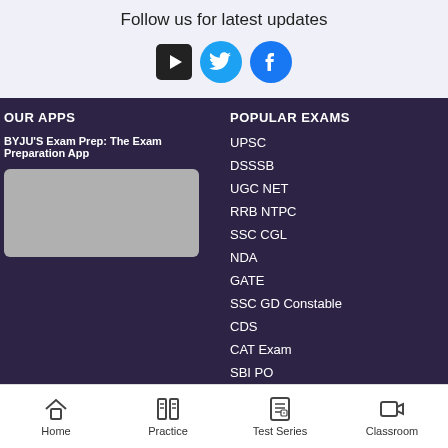Follow us for latest updates
[Figure (infographic): Social media icons: YouTube (black square with play button), Twitter (blue circle with bird), Facebook (blue circle with f)]
OUR APPS
POPULAR EXAMS
BYJU'S Exam Prep: The Exam Preparation App
[Figure (photo): App screenshot placeholder (grey rectangle)]
UPSC
DSSSB
UGC NET
RRB NTPC
SSC CGL
NDA
GATE
SSC GD Constable
CDS
CAT Exam
SBI PO
SSC JE
RBI Grade B
Home | Practice | Test Series | Classroom